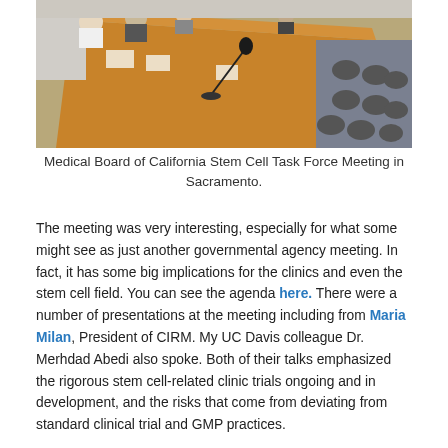[Figure (photo): A conference room with people seated around a long wooden table. A microphone is visible in the foreground. Empty chairs are arranged in rows on the right side. The setting appears to be a formal governmental or institutional meeting.]
Medical Board of California Stem Cell Task Force Meeting in Sacramento.
The meeting was very interesting, especially for what some might see as just another governmental agency meeting. In fact, it has some big implications for the clinics and even the stem cell field. You can see the agenda here. There were a number of presentations at the meeting including from Maria Milan, President of CIRM. My UC Davis colleague Dr. Merhdad Abedi also spoke. Both of their talks emphasized the rigorous stem cell-related clinic trials ongoing and in development, and the risks that come from deviating from standard clinical trial and GMP practices.